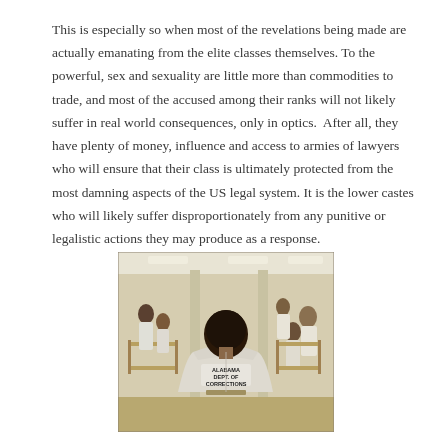This is especially so when most of the revelations being made are actually emanating from the elite classes themselves. To the powerful, sex and sexuality are little more than commodities to trade, and most of the accused among their ranks will not likely suffer in real world consequences, only in optics.  After all, they have plenty of money, influence and access to armies of lawyers who will ensure that their class is ultimately protected from the most damning aspects of the US legal system. It is the lower castes who will likely suffer disproportionately from any punitive or legalistic actions they may produce as a response.
[Figure (photo): A photograph showing the interior of the Alabama Department of Corrections facility. Multiple inmates wearing white uniforms are visible seated and standing throughout a large room with bunk beds. A person in the foreground has their back to the camera, clearly showing the text 'ALABAMA DEPT. OF CORRECTIONS' printed on the back of their white uniform.]